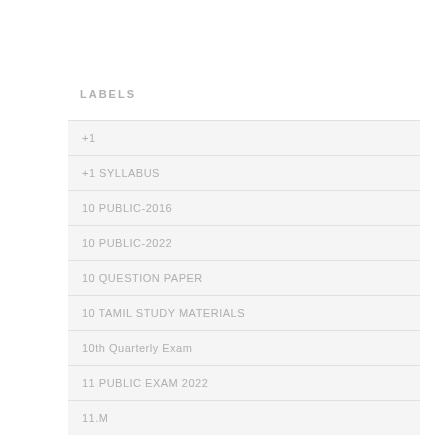LABELS
+1
+1 SYLLABUS
10 PUBLIC-2016
10 PUBLIC-2022
10 QUESTION PAPER
10 TAMIL STUDY MATERIALS
10th Quarterly Exam
11 PUBLIC EXAM 2022
11.M